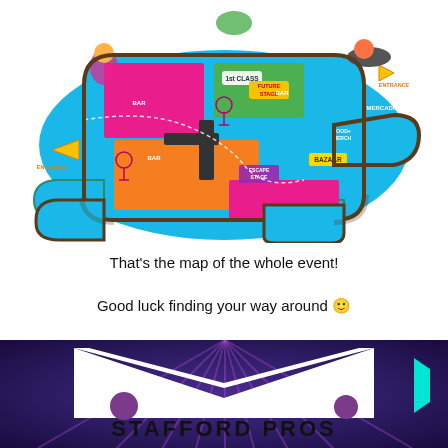[Figure (map): Illustrated isometric map of a festival/event venue showing multiple colored zones including a blue main floor, orange area, pink/magenta section, and green stage area. Labels visible include: BAR, 1st CLASS, FUTURE STAGE, BAZAAR, ESCAPE STAGE, ENTRANCE (x2), MERCADOS, FOOD+MERCH. Characters and decorative elements are placed around the map. A dashed path winds through the venue.]
That's the map of the whole event!
Good luck finding your way around 🙂
[Figure (illustration): Colorful promotional banner/illustration with a deep purple starry background with radiating rays. A white V-shaped chevron/book shape is in the center. There are purple circles/dots on the white shape. A teal accent element is on the right side. Large bold black text reads 'STAFFORD PROS' at the bottom.]